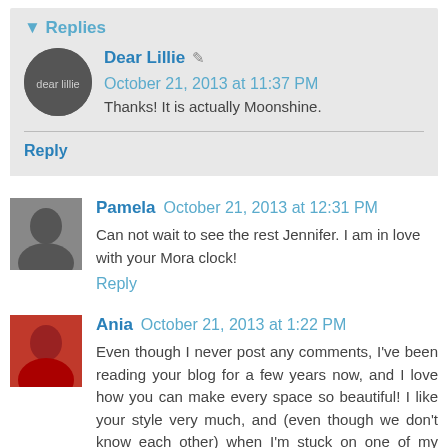Replies
Dear Lillie  October 21, 2013 at 11:37 PM
Thanks! It is actually Moonshine.
Reply
Pamela  October 21, 2013 at 12:31 PM
Can not wait to see the rest Jennifer. I am in love with your Mora clock!
Reply
Ania  October 21, 2013 at 1:22 PM
Even though I never post any comments, I've been reading your blog for a few years now, and I love how you can make every space so beautiful! I like your style very much, and (even though we don't know each other) when I'm stuck on one of my projects, I amuse myself with a thought: